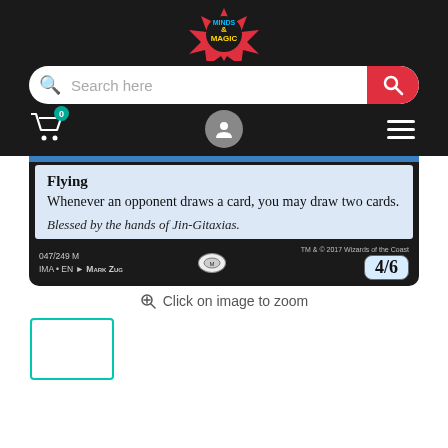[Figure (logo): Minds and Magic store logo — starburst badge with colorful text on dark background]
[Figure (screenshot): Search bar UI with magnifying glass icon, 'Search here' placeholder text, and red search button on right]
[Figure (screenshot): Navigation icons: shopping cart with badge '0', user profile icon, hamburger menu]
[Figure (screenshot): Magic: The Gathering card bottom portion showing 'Flying', 'Whenever an opponent draws a card, you may draw two cards.', 'Blessed by the hands of Jin-Gitaxias.' flavor text, set info '047/249 M IMA • EN Mark Zug', copyright 'TM & © 2017 Wizards of the Coast', and power/toughness '4/6']
Click on image to zoom
[Figure (screenshot): Small thumbnail preview box with teal border, empty white interior]